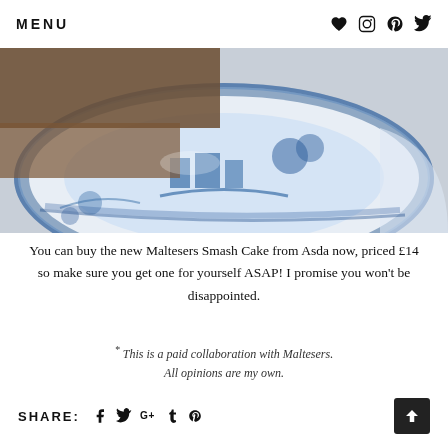MENU
[Figure (photo): Close-up photo of a blue and white willow pattern plate with pieces of Maltesers Smash Cake on it]
You can buy the new Maltesers Smash Cake from Asda now, priced £14 so make sure you get one for yourself ASAP! I promise you won't be disappointed.
* This is a paid collaboration with Maltesers. All opinions are my own.
SHARE: